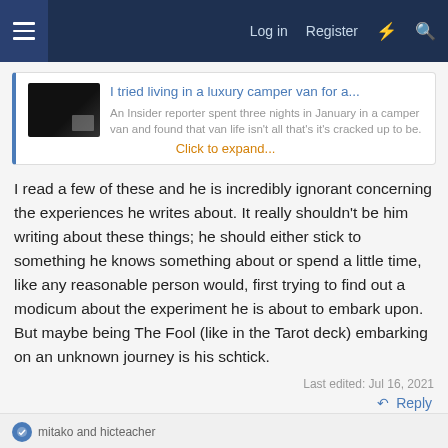Log in   Register
[Figure (screenshot): Thumbnail image of a camper van at night]
I tried living in a luxury camper van for a...
An Insider reporter spent three nights in January in a camper van and found that van life isn't all that's it's cracked up to be.
Click to expand...
I read a few of these and he is incredibly ignorant concerning the experiences he writes about. It really shouldn't be him writing about these things; he should either stick to something he knows something about or spend a little time, like any reasonable person would, first trying to find out a modicum about the experiment he is about to embark upon. But maybe being The Fool (like in the Tarot deck) embarking on an unknown journey is his schtick.
Last edited: Jul 16, 2021
Reply
mitako and hicteacher